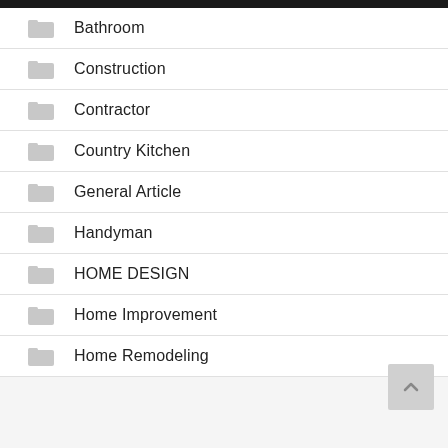Bathroom
Construction
Contractor
Country Kitchen
General Article
Handyman
HOME DESIGN
Home Improvement
Home Remodeling